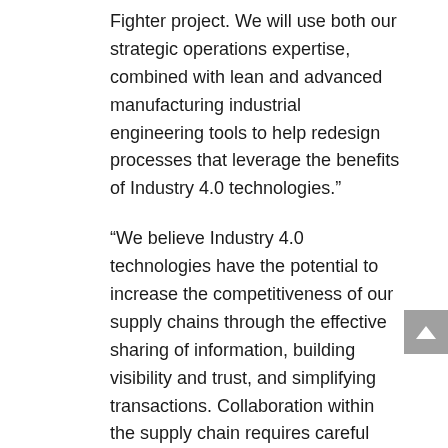Fighter project. We will use both our strategic operations expertise, combined with lean and advanced manufacturing industrial engineering tools to help redesign processes that leverage the benefits of Industry 4.0 technologies.”
“We believe Industry 4.0 technologies have the potential to increase the competitiveness of our supply chains through the effective sharing of information, building visibility and trust, and simplifying transactions. Collaboration within the supply chain requires careful planning, but the rewards are there for those prepared to work together.”
“Industry 4.0 technologies make it easier to collaborate, to generate systems that help all members of the supply chain trust one another.